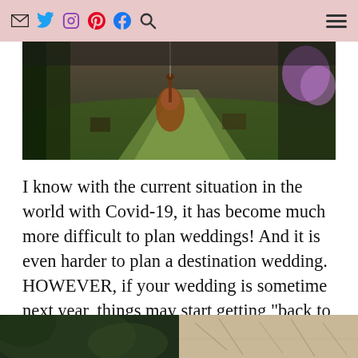Email Twitter Instagram Pinterest Facebook Search | Menu
[Figure (photo): Outdoor garden scene with a cello/string instrument hanging or standing, lush green garden path visible with sunlight, colorful flowers on the right]
I know with the current situation in the world with Covid-19, it has become much more difficult to plan weddings! And it is even harder to plan a destination wedding. HOWEVER, if your wedding is sometime next year, things may start getting “back to normal” and you may want to consider having a destination wedding!
[Figure (photo): Two partial images at the bottom of the page — left: dark green outdoor scene, right: tan/beige patterned texture]